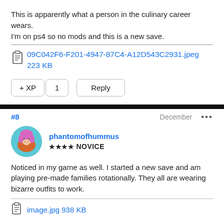This is apparently what a person in the culinary career wears.
I'm on ps4 so no mods and this is a new save.
09C042F6-F201-4947-87C4-A12D543C2931.jpeg 223 KB
+ XP  1  Reply
#8  December  •••
phantomofhummus
★★★★ NOVICE
Noticed in my game as well. I started a new save and am playing pre-made families rotationally. They all are wearing bizarre outfits to work.
image.jpg 938 KB